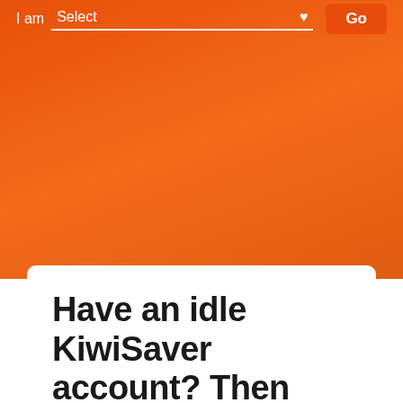I am Select Go
Have an idle KiwiSaver account? Then read this
Tags: Superannuation, Finances,